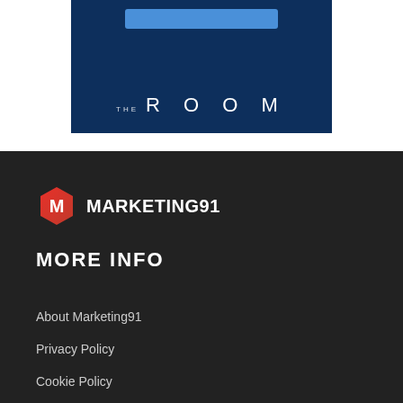[Figure (logo): The Room banner with dark blue background, a blue button at top, and 'THE ROOM' text in white with wide letter-spacing]
[Figure (logo): Marketing91 logo: hexagon icon with M letter and MARKETING91 text in white]
MORE INFO
About Marketing91
Privacy Policy
Cookie Policy